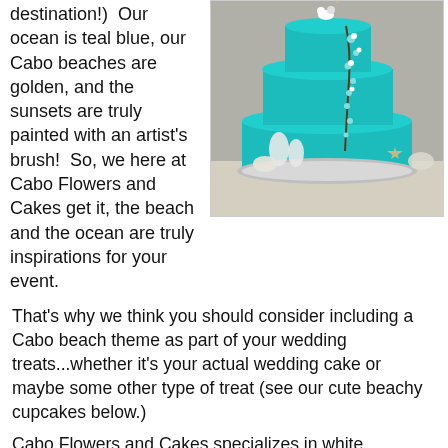destination!)  Our ocean is teal blue, our Cabo beaches are golden, and the sunsets are truly painted with an artist's brush!  So, we here at Cabo Flowers and Cakes get it, the beach and the ocean are truly inspirations for your event.
[Figure (photo): A three-tier teal/turquoise beach-themed wedding cake decorated with white sea-themed fondant pieces including seahorses, starfish, shells, and floral branch decorations, topped with a bride and groom figurine.]
That's why we think you should consider including a Cabo beach theme as part of your wedding treats...whether it's your actual wedding cake or maybe some other type of treat (see our cute beachy cupcakes below.)
Cabo Flowers and Cakes specializes in white chocolate and/or